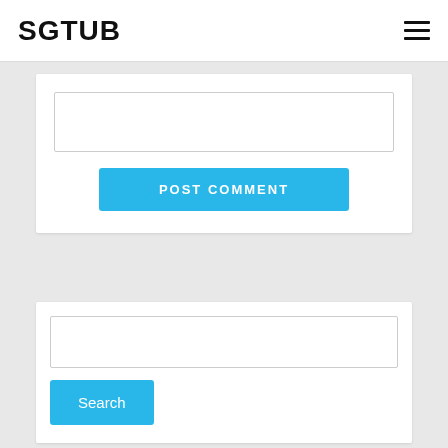SGTUB
[Figure (screenshot): Comment form input box with a white text area]
[Figure (screenshot): POST COMMENT blue button]
[Figure (screenshot): Search widget with input box and Search button]